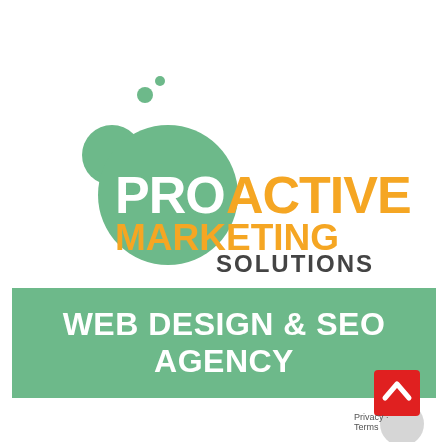[Figure (logo): Proactive Marketing Solutions logo with green bubble/circle graphic on left and two-tone text: PRO in green, ACTIVE in orange, MARKETING in orange bold, SOLUTIONS in dark gray below]
WEB DESIGN & SEO AGENCY
[Figure (other): Red scroll-to-top button with white chevron arrow, and a gray circle beneath it, with 'Privacy - Terms' text below]